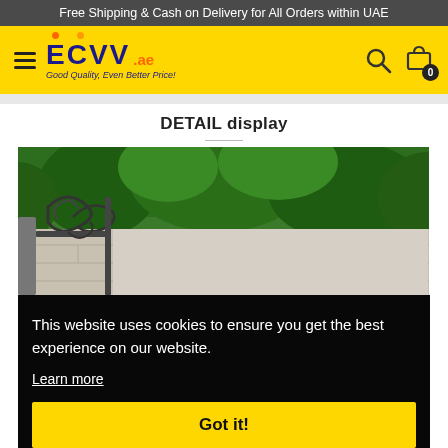Free Shipping & Cash on Delivery for All Orders within UAE
[Figure (logo): ECVV.ae logo with hamburger menu, search icon, and cart icon on yellow header background]
DETAIL display
[Figure (photo): Outdoor scene showing ornamental iron gate/wall bracket with green trees and stone wall in background]
This website uses cookies to ensure you get the best experience on our website.
Learn more
Got it!